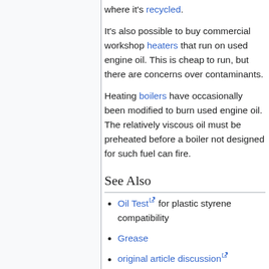where it's recycled.
It's also possible to buy commercial workshop heaters that run on used engine oil. This is cheap to run, but there are concerns over contaminants.
Heating boilers have occasionally been modified to burn used engine oil. The relatively viscous oil must be preheated before a boiler not designed for such fuel can fire.
See Also
Oil Test for plastic styrene compatibility
Grease
original article discussion
Wiki Contents
Wiki Subject Categories
Lubricate a Camera lens thread